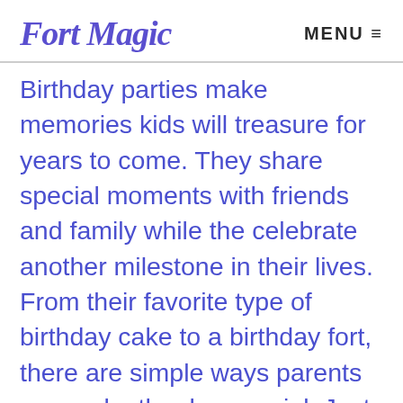Fort Magic  MENU
Birthday parties make memories kids will treasure for years to come. They share special moments with friends and family while the celebrate another milestone in their lives. From their favorite type of birthday cake to a birthday fort, there are simple ways parents can make the day special. Just add balloons and sparkle to transform an ordinary fort into a real-life fairy tale. Make a fort the central zone of your child's next birthday. The party is sure